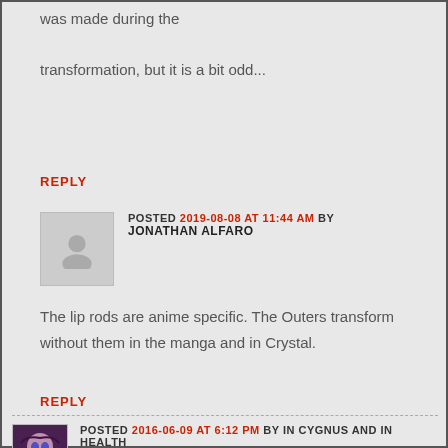we did explain why the emphasis was made during the transformation, but it is a bit odd...
REPLY
POSTED 2019-08-08 AT 11:44 AM BY JONATHAN ALFARO
The lip rods are anime specific. The Outers transform without them in the manga and in Crystal.
REPLY
POSTED 2016-06-09 AT 6:12 PM BY IN CYGNUS AND IN HEALTH
It always amused me how Setsuna already